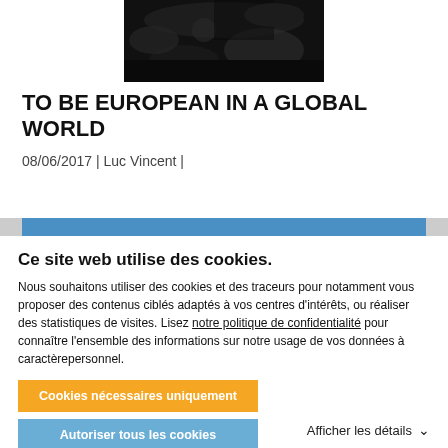[Figure (photo): Dark aerial or satellite photo of Earth/landscape, partially visible at top center of page]
TO BE EUROPEAN IN A GLOBAL WORLD
08/06/2017 | Luc Vincent |
Ce site web utilise des cookies.
Nous souhaitons utiliser des cookies et des traceurs pour notamment vous proposer des contenus ciblés adaptés à vos centres d'intérêts, ou réaliser des statistiques de visites. Lisez notre politique de confidentialité pour connaître l'ensemble des informations sur notre usage de vos données à caractèrepersonnel.
Cookies nécessaires uniquement
Autoriser tous les cookies
Afficher les détails